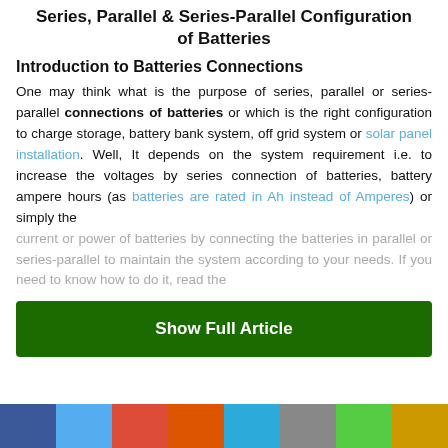Series, Parallel & Series-Parallel Configuration of Batteries
Introduction to Batteries Connections
One may think what is the purpose of series, parallel or series-parallel connections of batteries or which is the right configuration to charge storage, battery bank system, off grid system or solar panel installation. Well, It depends on the system requirement i.e. to increase the voltages by series connection of batteries, battery ampere hours (as batteries are rated in Ah instead of Amperes) or simply the current or power of batteries by connecting the batteries in parallel or series-parallel to maintain the system according to your needs. If you need to know how to do it, read the
Show Full Article
[Figure (other): Social sharing bar with colored buttons: Facebook (blue), Twitter (light blue), Google+ (red), share (orange-red), LinkedIn (cyan), more (gray), WhatsApp (green), yellow]